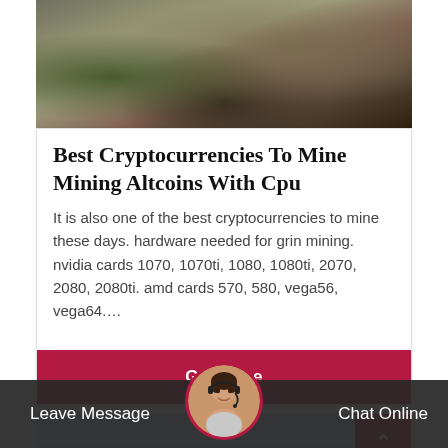[Figure (photo): Aerial photo of mining site with gravel, dirt, green vegetation patches]
Best Cryptocurrencies To Mine Mining Altcoins With Cpu
It is also one of the best cryptocurrencies to mine these days. hardware needed for grin mining. nvidia cards 1070, 1070ti, 1080, 1080ti, 2070, 2080, 2080ti. amd cards 570, 580, vega56, vega64....
Get Price
[Figure (photo): Photo of mining equipment and machinery against a blue sky]
Leave Message
Chat Online